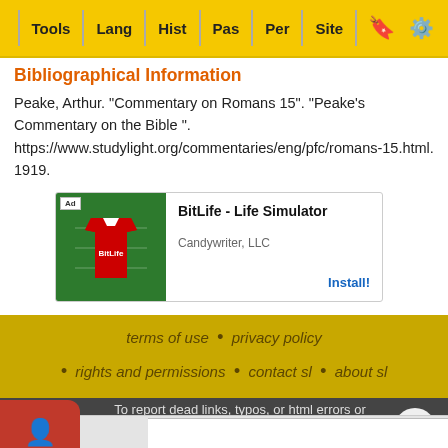Tools | Lang | Hist | Pas | Per | Site
Bibliographical Information
Peake, Arthur. "Commentary on Romans 15". "Peake's Commentary on the Bible ". https://www.studylight.org/commentaries/eng/pfc/romans-15.html. 1919.
[Figure (screenshot): Mobile ad banner for BitLife - Life Simulator by Candywriter, LLC with Install button]
terms of use • privacy policy • rights and permissions • contact sl • about sl • link to sl
To report dead links, typos, or html errors or suggestions about making these resources more useful use the convenient contact form
StudyLight ... hnology